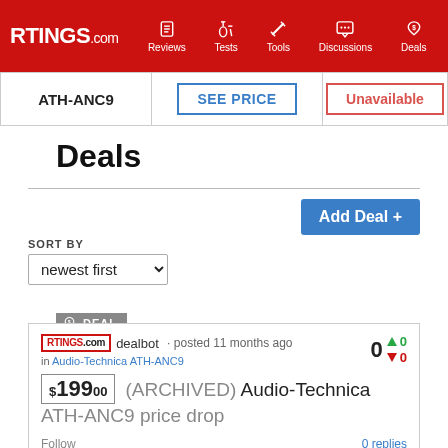RTINGS.com | Reviews | Tests | Tools | Discussions | Deals
| Product | Price | Availability |
| --- | --- | --- |
| ATH-ANC9 | SEE PRICE | Unavailable |
Deals
Add Deal +
SORT BY newest first
DEAL
RTINGS.com dealbot · posted 11 months ago in Audio-Technica ATH-ANC9
$199.00 (ARCHIVED) Audio-Technica ATH-ANC9 price drop
Follow  0 replies